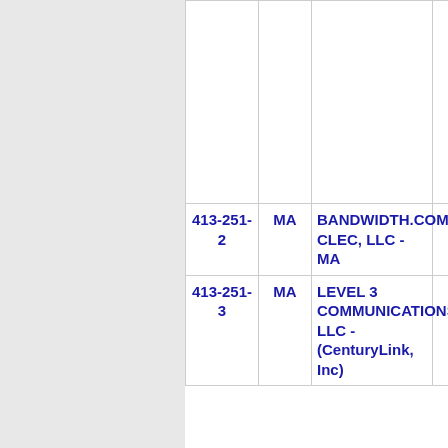| Number | State | Company | Code |
| --- | --- | --- | --- |
|  |  |  |  |
| 413-251-2 | MA | BANDWIDTH.COM CLEC, LLC - MA | 990E |
| 413-251-3 | MA | LEVEL 3 COMMUNICATIONS, LLC - (CenturyLink, Inc) | 4018 |